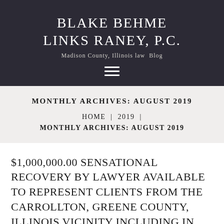BLAKE BEHME LINKS RANEY, P.C.
Madison County, Illinois law Blog
MONTHLY ARCHIVES: AUGUST 2019
HOME | 2019 | MONTHLY ARCHIVES: AUGUST 2019
$1,000,000.00 SENSATIONAL RECOVERY BY LAWYER AVAILABLE TO REPRESENT CLIENTS FROM THE CARROLLTON, GREENE COUNTY, ILLINOIS VICINITY INCLUDING IN REGARD TO WILL CONTESTS, TRUST DISPUTES, ESTATE AND PROBATE LITIGATION, DECADES